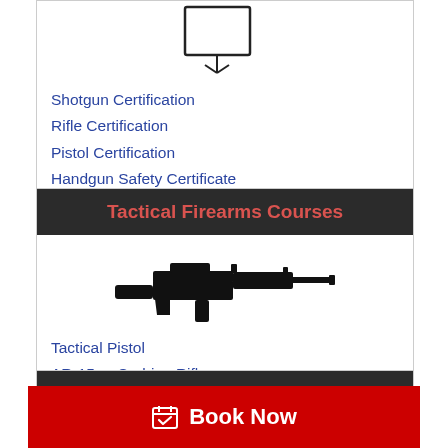[Figure (illustration): Certificate icon with ribbon at top]
Shotgun Certification
Rifle Certification
Pistol Certification
Handgun Safety Certificate
Tactical Firearms Courses
[Figure (illustration): Black silhouette of an AR-15 style rifle]
Tactical Pistol
AR-15 or Carbine Rifle
Tactical Shotgun
Other Courses and Certs
CPR A
First Aid